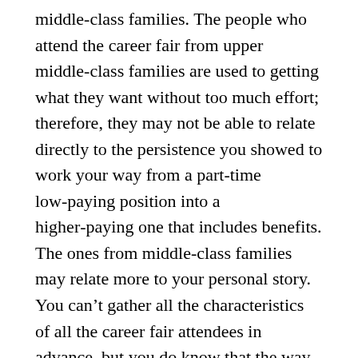middle-class families. The people who attend the career fair from upper middle-class families are used to getting what they want without too much effort; therefore, they may not be able to relate directly to the persistence you showed to work your way from a part-time low-paying position into a higher-paying one that includes benefits. The ones from middle-class families may relate more to your personal story. You can't gather all the characteristics of all the career fair attendees in advance, but you do know that the way in which you explain the advantages of working for the satellite television company and the type of language you use will affect the attendees' decision on whether or not to apply for a position with the